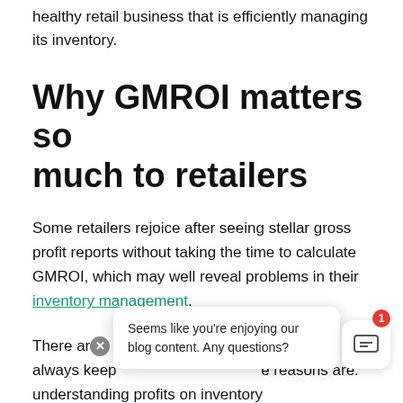healthy retail business that is efficiently managing its inventory.
Why GMROI matters so much to retailers
Some retailers rejoice after seeing stellar gross profit reports without taking the time to calculate GMROI, which may well reveal problems in their inventory management.
There are many reasons you should always keep an eye on GMROI. Those reasons are: understanding profits on inventory